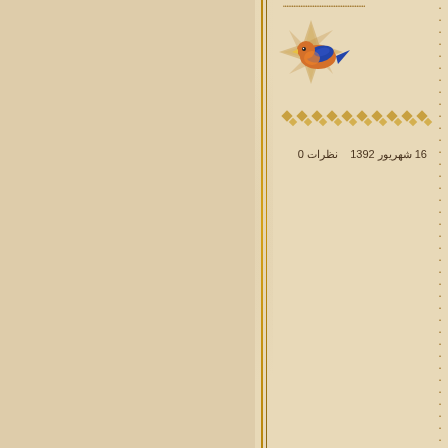[Figure (illustration): Persian decorative page layout with ornamental bird illustration at top right, geometric star medallion, diamond pattern border, two vertical gold divider lines separating left blank panel from right content panel, vertical dotted line decoration]
16 شهریور 1392    نظرات 0